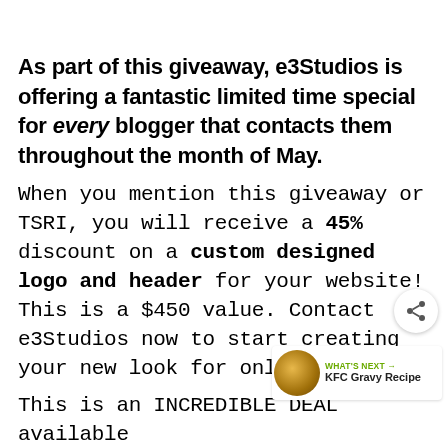As part of this giveaway, e3Studios is offering a fantastic limited time special for every blogger that contacts them throughout the month of May.
When you mention this giveaway or TSRI, you will receive a 45% discount on a custom designed logo and header for your website! This is a $450 value. Contact e3Studios now to start creating your new look for only $249!
This is an INCREDIBLE DEAL available